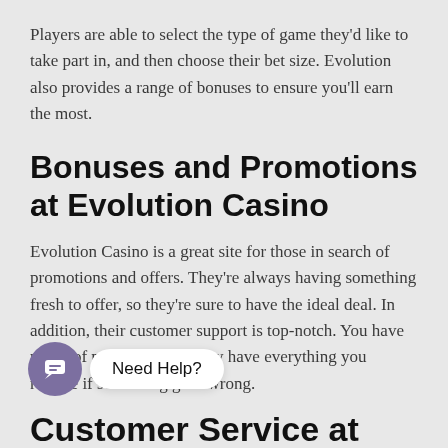Players are able to select the type of game they'd like to take part in, and then choose their bet size. Evolution also provides a range of bonuses to ensure you'll earn the most.
Bonuses and Promotions at Evolution Casino
Evolution Casino is a great site for those in search of promotions and offers. They're always having something fresh to offer, so they're sure to have the ideal deal. In addition, their customer support is top-notch. You have peace of mind knowing they have everything you require if something goes wrong.
Customer Service at Evolution